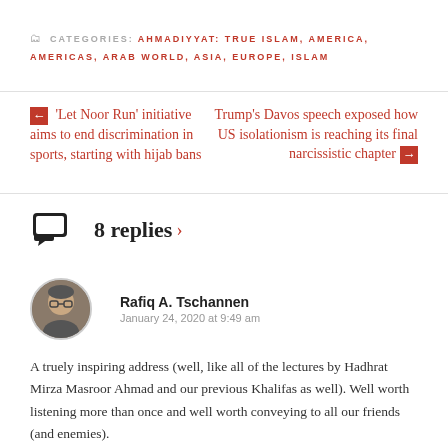CATEGORIES: AHMADIYYAT: TRUE ISLAM, AMERICA, AMERICAS, ARAB WORLD, ASIA, EUROPE, ISLAM
← 'Let Noor Run' initiative aims to end discrimination in sports, starting with hijab bans
Trump's Davos speech exposed how US isolationism is reaching its final narcissistic chapter →
8 replies ›
Rafiq A. Tschannen
January 24, 2020 at 9:49 am
A truely inspiring address (well, like all of the lectures by Hadhrat Mirza Masroor Ahmad and our previous Khalifas as well). Well worth listening more than once and well worth conveying to all our friends (and enemies).